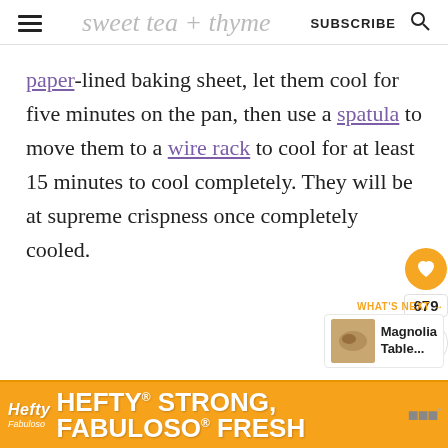sweet tea + thyme — SUBSCRIBE
paper-lined baking sheet, let them cool for five minutes on the pan, then use a spatula to move them to a wire rack to cool for at least 15 minutes to cool completely. They will be at supreme crispness once completely cooled.
679
WHAT'S NEXT → Magnolia Table...
HEFTY® STRONG, FABULOSO® FRESH